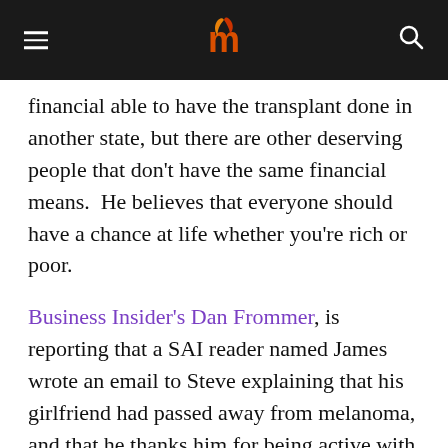[hamburger menu] [m logo] [search icon]
financial able to have the transplant done in another state, but there are other deserving people that don't have the same financial means.  He believes that everyone should have a chance at life whether you're rich or poor.
Business Insider's Dan Frommer, is reporting that a SAI reader named James wrote an email to Steve explaining that his girlfriend had passed away from melanoma, and that he thanks him for being active with this Bill. Below is the email from James, and Steve's